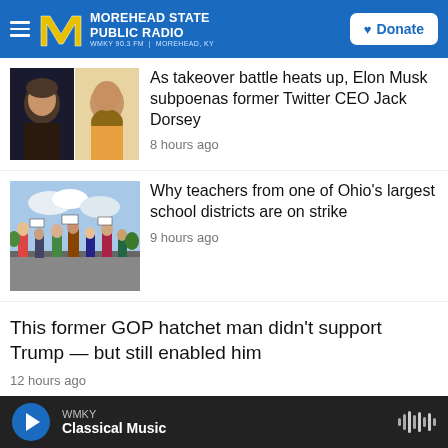MOREHEAD STATE PUBLIC RADIO — WMKY 90.3 FM | MOREHEAD, KY
[Figure (screenshot): Two thumbnail photos side by side: Elon Musk on left, Jack Dorsey on right]
As takeover battle heats up, Elon Musk subpoenas former Twitter CEO Jack Dorsey
8 hours ago
[Figure (photo): Teachers on strike, crowd of people with signs outdoors]
Why teachers from one of Ohio's largest school districts are on strike
9 hours ago
This former GOP hatchet man didn't support Trump — but still enabled him
12 hours ago
[Figure (photo): Books on shelves in library]
A Florida district declines dictionary donations as it navigates a new book
WMKY Classical Music